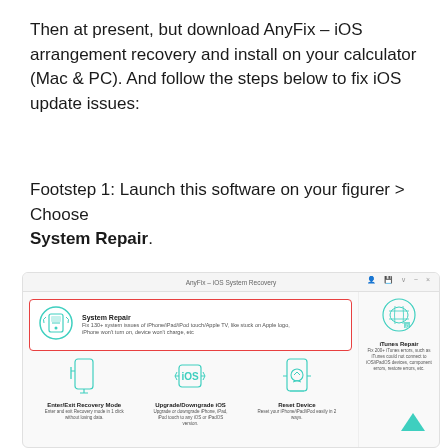Then at present, but download AnyFix – iOS arrangement recovery and install on your calculator (Mac & PC). And follow the steps below to fix iOS update issues:
Footstep 1: Launch this software on your figurer > Choose System Repair.
[Figure (screenshot): Screenshot of AnyFix – iOS System Recovery software interface showing System Repair option highlighted with a red border, and below it Enter/Exit Recovery Mode, Upgrade/Downgrade iOS, Reset Device options, and iTunes Repair in the right sidebar. A teal scroll-to-top arrow is visible at bottom right.]